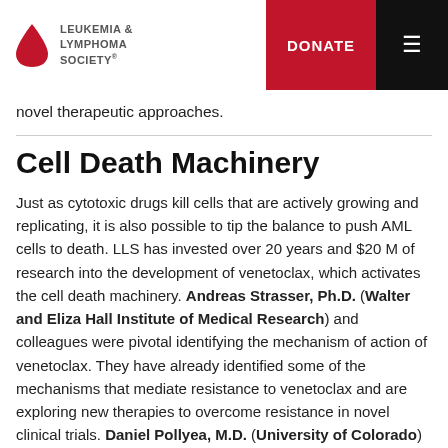Leukemia & Lymphoma Society — DONATE
novel therapeutic approaches.
Cell Death Machinery
Just as cytotoxic drugs kill cells that are actively growing and replicating, it is also possible to tip the balance to push AML cells to death. LLS has invested over 20 years and $20 M of research into the development of venetoclax, which activates the cell death machinery. Andreas Strasser, Ph.D. (Walter and Eliza Hall Institute of Medical Research) and colleagues were pivotal identifying the mechanism of action of venetoclax. They have already identified some of the mechanisms that mediate resistance to venetoclax and are exploring new therapies to overcome resistance in novel clinical trials. Daniel Pollyea, M.D. (University of Colorado) and Maria Konopleva, M.D., Ph.D. (MD Anderson Cancer Center) have demonstrated that venetoclax in